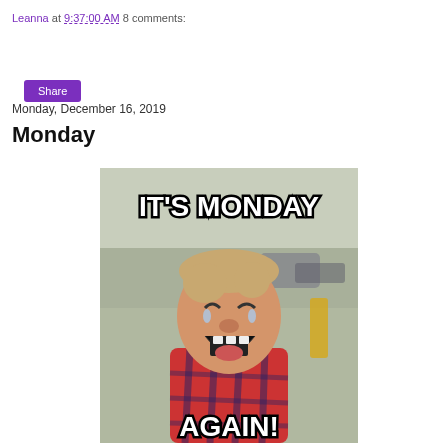Leanna at 9:37:00 AM    8 comments:
Share
Monday, December 16, 2019
Monday
[Figure (photo): Meme image of a crying toddler boy with text 'IT'S MONDAY AGAIN!' in bold white letters with black outline]